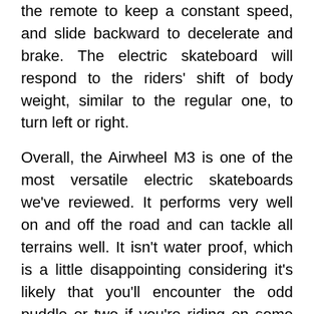the remote to keep a constant speed, and slide backward to decelerate and brake. The electric skateboard will respond to the riders' shift of body weight, similar to the regular one, to turn left or right.
Overall, the Airwheel M3 is one of the most versatile electric skateboards we've reviewed. It performs very well on and off the road and can tackle all terrains well. It isn't water proof, which is a little disappointing considering it's likely that you'll encounter the odd puddle or two if you're riding on some trials, but that's not the end of the world. For around $500 you're getting a very capable, versatile and fun little skateboard.
Check the latest price on Amazon.